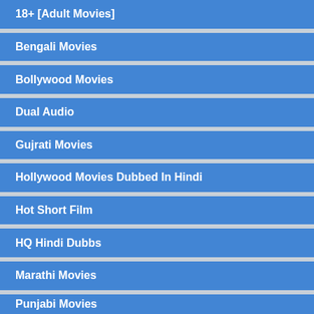18+ [Adult Movies]
Bengali Movies
Bollywood Movies
Dual Audio
Gujrati Movies
Hollywood Movies Dubbed In Hindi
Hot Short Film
HQ Hindi Dubbs
Marathi Movies
Punjabi Movies